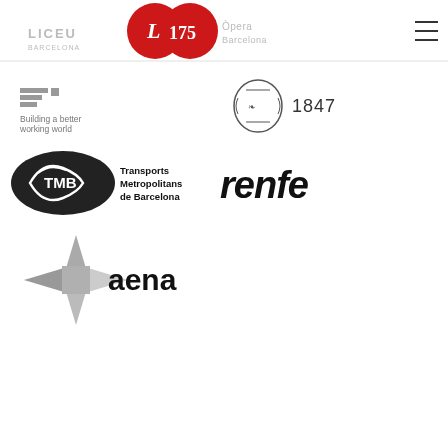[Figure (logo): Header with Liceu 175 anniversary logo (red double-circle with L 175) flanked by text logos, and hamburger menu icon]
[Figure (logo): EY logo - Building a better working world]
[Figure (logo): Ornamental crest with 1847 text]
[Figure (logo): TMB - Transports Metropolitans de Barcelona logo]
[Figure (logo): renfe logo]
[Figure (logo): aena logo with star/arrow symbol]